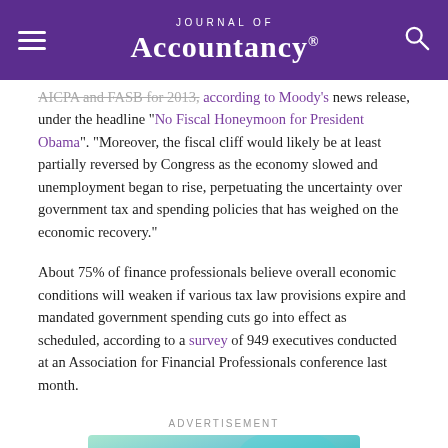Journal of Accountancy
AICPA and FASB for 2013, according to Moody's news release, under the headline “No Fiscal Honeymoon for President Obama”. “Moreover, the fiscal cliff would likely be at least partially reversed by Congress as the economy slowed and unemployment began to rise, perpetuating the uncertainty over government tax and spending policies that has weighed on the economic recovery.”
About 75% of finance professionals believe overall economic conditions will weaken if various tax law provisions expire and mandated government spending cuts go into effect as scheduled, according to a survey of 949 executives conducted at an Association for Financial Professionals conference last month.
[Figure (other): Advertisement banner: 2022 Payroll Update Report. Click to Download. Colorful gradient background with teal and yellow hues.]